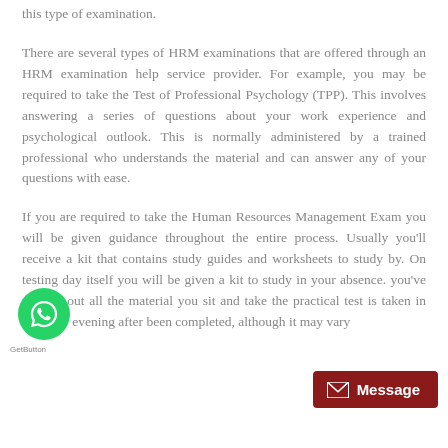this type of examination.
There are several types of HRM examinations that are offered through an HRM examination help service provider. For example, you may be required to take the Test of Professional Psychology (TPP). This involves answering a series of questions about your work experience and psychological outlook. This is normally administered by a trained professional who understands the material and can answer any of your questions with ease.
If you are required to take the Human Resources Management Exam you will be given guidance throughout the entire process. Usually you'll receive a kit that contains study guides and worksheets to study by. On testing day itself you will be given a kit to study in your absence. you've worked out all the material you sit and take the practical test is taken in the early evening after been completed, although it may vary